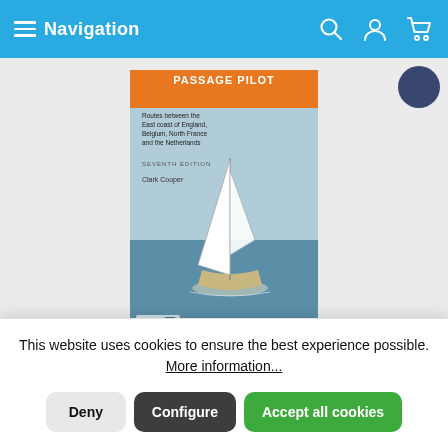Navigation
[Figure (photo): Book cover of 'North Sea Passage Pilot' Seventh Edition by Clark Cooper, published by Inray. Shows a sailboat on calm water on the cover.]
North Sea Passage Pilot
Southern North Sea passage guide with passage routes for
This website uses cookies to ensure the best experience possible. More information...
Deny | Configure | Accept all cookies